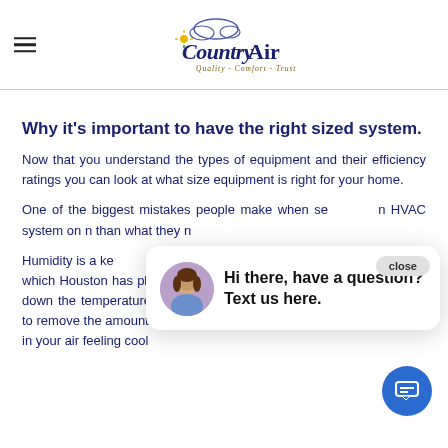CountryAir — Quality - Comfort - Trust
Why it's important to have the right sized system.
Now that you understand the types of equipment and their efficiency ratings you can look at what size equipment is right for your home.
One of the biggest mistakes people make when selecting an HVAC system on their own is getting a system that is bigger than what they need.
Humidity is a key factor in comfort — which Houston has plenty of. A cooling system that is too big will cool down the temperature in your home quickly, but will not run long enough to remove the amount of humidity necessary from the air. This will result in your air feeling cool
[Figure (other): Chat widget overlay with close button, avatar photo of a woman, and text 'Hi there, have a question? Text us here.']
[Figure (other): Blue circular chat button with message icon]